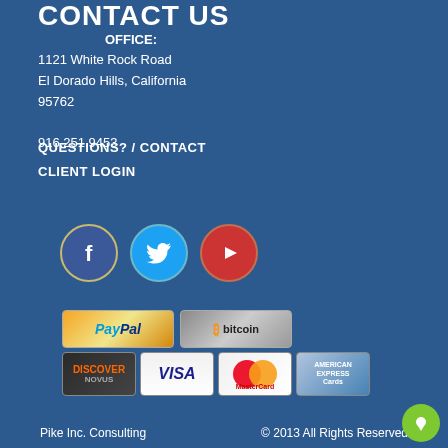CONTACT US
OFFICE:
1121 White Rock Road
El Dorado Hills, California
95762

916.251.9453
QUESTIONS? / CONTACT
CLIENT LOGIN
[Figure (illustration): Three social media icons: Facebook (blue circle with f), Twitter (light blue circle with bird), YouTube (red circle with play button)]
[Figure (illustration): Payment method logos: PayPal, Bitcoin, Discover/Novus, Visa, MasterCard, American Express]
Pike Inc. Consulting    © 2013 All Rights Reserved